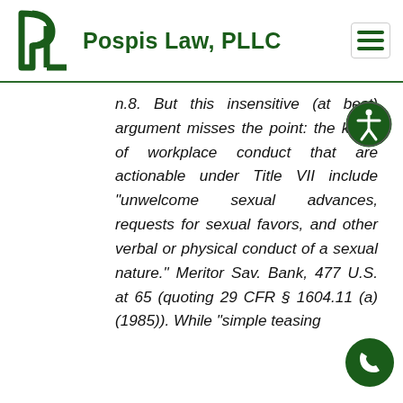[Figure (logo): Pospis Law PLLC logo with stylized PL letters in dark green]
Pospis Law, PLLC
n.8. But this insensitive (at best) argument misses the point: the kinds of workplace conduct that are actionable under Title VII include “unwelcome sexual advances, requests for sexual favors, and other verbal or physical conduct of a sexual nature.” Meritor Sav. Bank, 477 U.S. at 65 (quoting 29 CFR § 1604.11 (a) (1985)). While “simple teasing